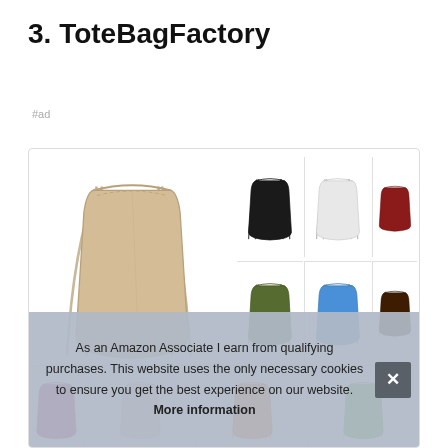3. ToteBagFactory
#ad
[Figure (photo): Product image grid showing drawstring bags in multiple colors: large beige/tan bag on the left, smaller bags in black, grey/white, dark red, olive/dark green, blue, dark brown, pink/magenta, light pink, orange, and green arranged in a grid]
As an Amazon Associate I earn from qualifying purchases. This website uses the only necessary cookies to ensure you get the best experience on our website. More information